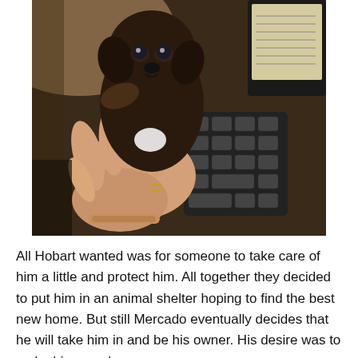[Figure (photo): A small dark brown puppy being held up by a person's hand inside a vehicle. A numeric keypad and what appears to be a laptop screen are visible in the background.]
All Hobart wanted was for someone to take care of him a little and protect him. All together they decided to put him in an animal shelter hoping to find the best new home. But still Mercado eventually decides that he will take him in and be his owner. His desire was to make him very happy.